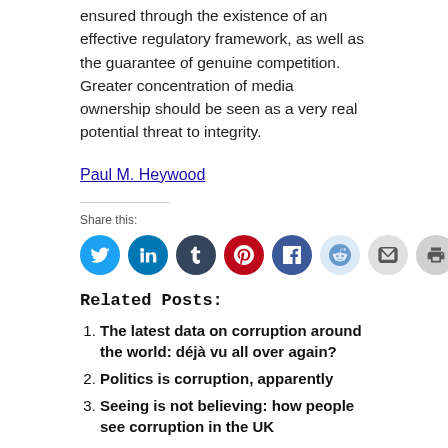ensured through the existence of an effective regulatory framework, as well as the guarantee of genuine competition. Greater concentration of media ownership should be seen as a very real potential threat to integrity.
Paul M. Heywood
Share this:
[Figure (infographic): Row of 8 circular social media share icons: Twitter (blue), LinkedIn (blue), Tumblr (dark), Pinterest (red), Facebook (dark blue), Reddit (light blue), Email (grey), Print (grey)]
Related Posts:
The latest data on corruption around the world: déjà vu all over again?
Politics is corruption, apparently
Seeing is not believing: how people see corruption in the UK